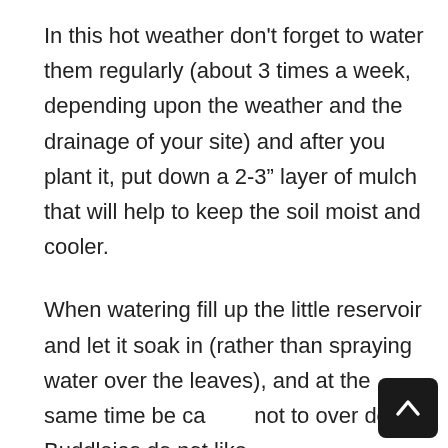In this hot weather don't forget to water them regularly (about 3 times a week, depending upon the weather and the drainage of your site) and after you plant it, put down a 2-3” layer of mulch that will help to keep the soil moist and cooler.
When watering fill up the little reservoir and let it soak in (rather than spraying water over the leaves), and at the same time be careful not to over do it. Buddleias do not like